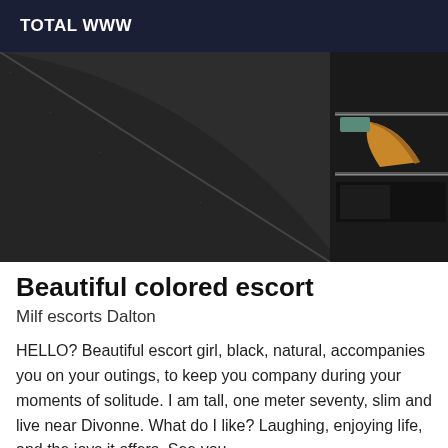TOTAL WWW
[Figure (photo): A dark, close-up photograph showing what appears to be a dark fabric or surface in the foreground, with a wooden shelving unit or drawer visible in the background on the right side.]
Beautiful colored escort
Milf escorts Dalton
HELLO? Beautiful escort girl, black, natural, accompanies you on your outings, to keep you company during your moments of solitude. I am tall, one meter seventy, slim and live near Divonne. What do I like? Laughing, enjoying life, and the joys it offers. See you